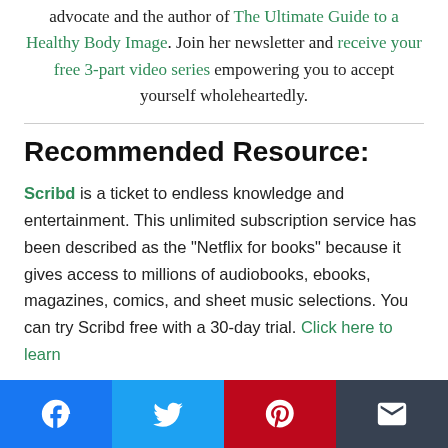advocate and the author of The Ultimate Guide to a Healthy Body Image. Join her newsletter and receive your free 3-part video series empowering you to accept yourself wholeheartedly.
Recommended Resource:
Scribd is a ticket to endless knowledge and entertainment. This unlimited subscription service has been described as the "Netflix for books" because it gives access to millions of audiobooks, ebooks, magazines, comics, and sheet music selections. You can try Scribd free with a 30-day trial. Click here to learn
[Figure (other): Social sharing bar with Facebook (blue), Twitter (light blue), Pinterest (red), and Email (dark grey) buttons]